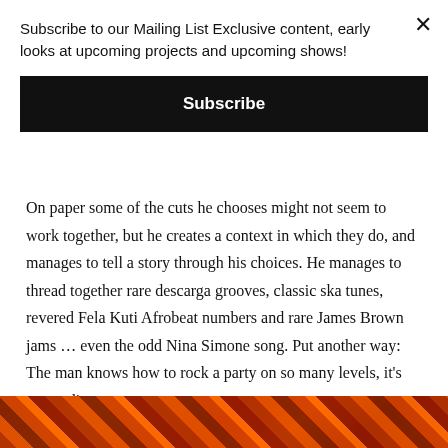Subscribe to our Mailing List Exclusive content, early looks at upcoming projects and upcoming shows!
Subscribe
On paper some of the cuts he chooses might not seem to work together, but he creates a context in which they do, and manages to tell a story through his choices. He manages to thread together rare descarga grooves, classic ska tunes, revered Fela Kuti Afrobeat numbers and rare James Brown jams … even the odd Nina Simone song. Put another way: The man knows how to rock a party on so many levels, it's astounding.
FACEBOOK EVENT
[Figure (photo): Dark orange/red toned image strip at the bottom of the page]